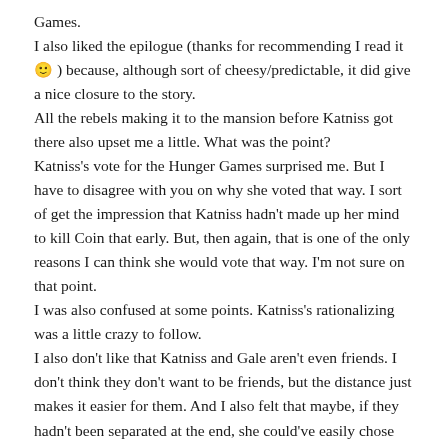Games.
I also liked the epilogue (thanks for recommending I read it 🙂 ) because, although sort of cheesy/predictable, it did give a nice closure to the story.
All the rebels making it to the mansion before Katniss got there also upset me a little. What was the point?
Katniss's vote for the Hunger Games surprised me. But I have to disagree with you on why she voted that way. I sort of get the impression that Katniss hadn't made up her mind to kill Coin that early. But, then again, that is one of the only reasons I can think she would vote that way. I'm not sure on that point.
I was also confused at some points. Katniss's rationalizing was a little crazy to follow.
I also don't like that Katniss and Gale aren't even friends. I don't think they don't want to be friends, but the distance just makes it easier for them. And I also felt that maybe, if they hadn't been separated at the end, she could've easily chose Gale over Peeta. The separation just made her decision for her, maybe?